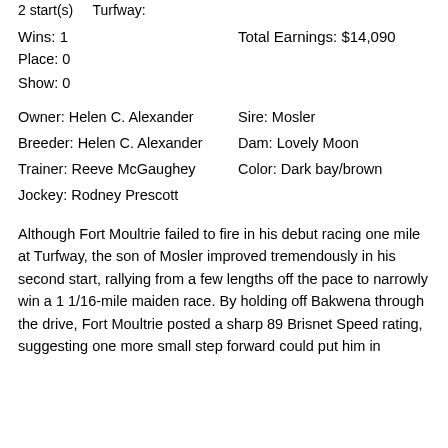2 start(s)    Turfway:
Wins: 1    Total Earnings: $14,090
Place: 0
Show: 0
Owner: Helen C. Alexander    Sire: Mosler
Breeder: Helen C. Alexander    Dam: Lovely Moon
Trainer: Reeve McGaughey    Color: Dark bay/brown
Jockey: Rodney Prescott
Although Fort Moultrie failed to fire in his debut racing one mile at Turfway, the son of Mosler improved tremendously in his second start, rallying from a few lengths off the pace to narrowly win a 1 1/16-mile maiden race. By holding off Bakwena through the drive, Fort Moultrie posted a sharp 89 Brisnet Speed rating, suggesting one more small step forward could put him in